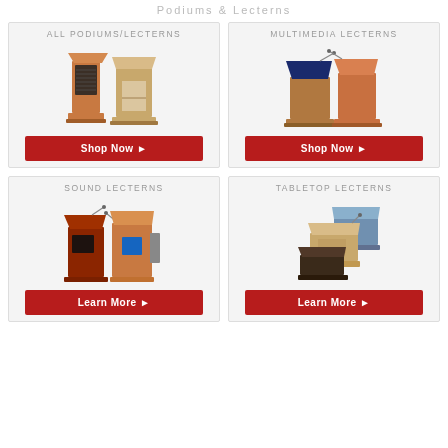Podiums & Lecterns
[Figure (photo): Two wooden podiums/lecterns shown side by side]
ALL PODIUMS/LECTERNS
Shop Now ▶
[Figure (photo): Two multimedia lecterns with microphones and blue top panel]
MULTIMEDIA LECTERNS
Shop Now ▶
[Figure (photo): Two sound lecterns with microphones and screen/speaker]
SOUND LECTERNS
Learn More ▶
[Figure (photo): Three tabletop lecterns with microphone and blue accent]
TABLETOP LECTERNS
Learn More ▶